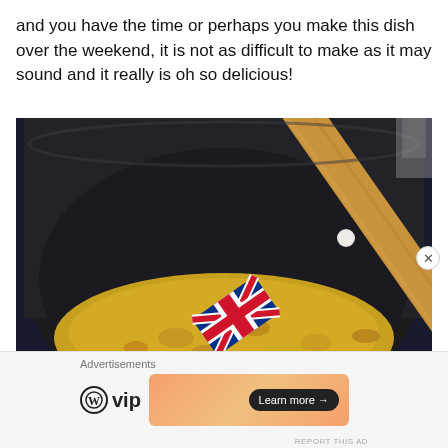and you have the time or perhaps you make this dish over the weekend, it is not as difficult to make as it may sound and it really is oh so delicious!
[Figure (photo): A black frying pan or wok with a yellow sautéed mixture (onions and other ingredients) being stirred with a wooden spatula featuring a Union Jack (British flag) design on the paddle.]
Advertisements
[Figure (logo): WordPress VIP logo with circular W icon followed by 'vip' text]
[Figure (other): Orange/peach gradient advertisement banner with 'Learn more →' button]